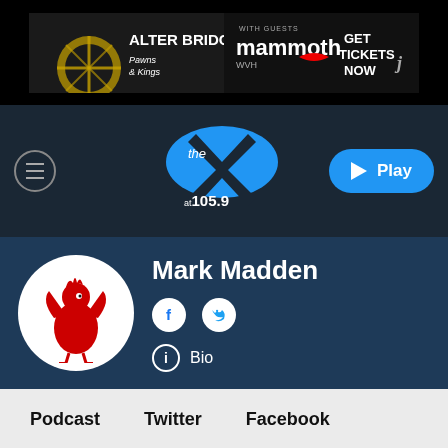[Figure (photo): Advertisement banner for Alter Bridge 'Pawns & Kings' concert with Mammoth WVH, 'GET TICKETS NOW']
[Figure (logo): The X at 105.9 radio station logo - blue oval with X graphic]
[Figure (logo): Mark Madden host profile with Liverpool FC liver bird avatar, social media icons (Facebook, Twitter) and Bio link]
Mark Madden
Bio
Podcast   Twitter   Facebook
The Offspring • 105.9 The X - Home of the Pittsburgh P...
Self Esteem